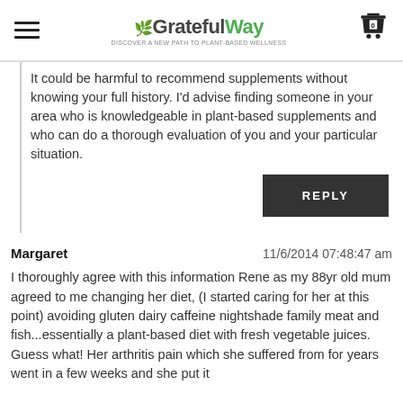GratefulWay
It could be harmful to recommend supplements without knowing your full history. I'd advise finding someone in your area who is knowledgeable in plant-based supplements and who can do a thorough evaluation of you and your particular situation.
REPLY
Margaret	11/6/2014 07:48:47 am
I thoroughly agree with this information Rene as my 88yr old mum agreed to me changing her diet, (I started caring for her at this point) avoiding gluten dairy caffeine nightshade family meat and fish...essentially a plant-based diet with fresh vegetable juices. Guess what! Her arthritis pain which she suffered from for years went in a few weeks and she put it